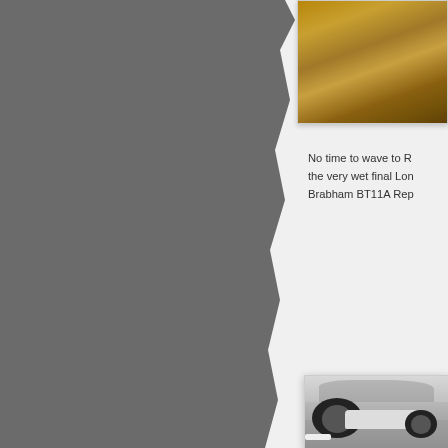[Figure (photo): Partial view of a photograph at top right, showing an outdoor scene with warm golden/brown tones, possibly foliage or a rural setting]
No time to wave to R... the very wet final Lon... Brabham BT11A Rep...
[Figure (photo): Black and white photograph of a vintage Formula racing car (Brabham BT11A), showing the front/side view with large wheel visible, taken on a street or road with houses and trees in background]